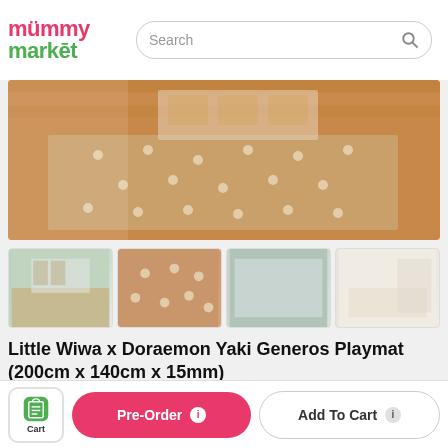mummy market
[Figure (photo): A tan/beige children's play mat with white dot/star pattern laid out on a wooden floor in a children's room with shelving and storage boxes in background]
[Figure (photo): Thumbnail 1: Room scene with the play mat on wooden floor, white walls and shelving]
[Figure (photo): Thumbnail 2: Close-up of the tan play mat with white dot/floral pattern]
[Figure (photo): Thumbnail 3: The reverse/back side of the mat in gray/green color]
[Figure (photo): Thumbnail 4: Living room scene with the mat in a bright white room with shelving]
Little Wiwa x Doraemon Yaki Generos Playmat (200cm x 140cm x 15mm)
Cart | Pre-Order | Add To Cart